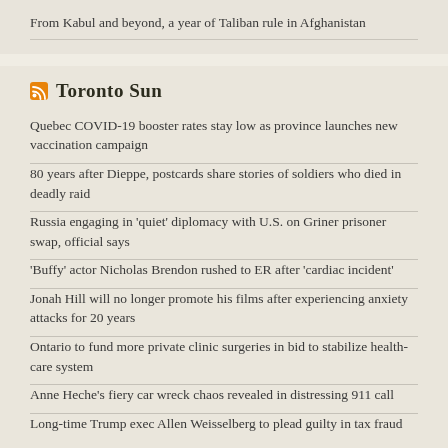From Kabul and beyond, a year of Taliban rule in Afghanistan
Toronto Sun
Quebec COVID-19 booster rates stay low as province launches new vaccination campaign
80 years after Dieppe, postcards share stories of soldiers who died in deadly raid
Russia engaging in 'quiet' diplomacy with U.S. on Griner prisoner swap, official says
'Buffy' actor Nicholas Brendon rushed to ER after 'cardiac incident'
Jonah Hill will no longer promote his films after experiencing anxiety attacks for 20 years
Ontario to fund more private clinic surgeries in bid to stabilize health-care system
Anne Heche's fiery car wreck chaos revealed in distressing 911 call
Long-time Trump exec Allen Weisselberg to plead guilty in tax fraud